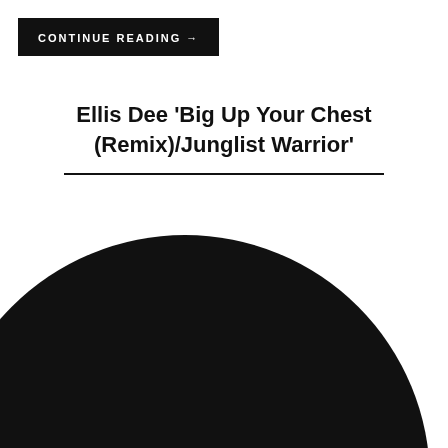CONTINUE READING →
Ellis Dee 'Big Up Your Chest (Remix)/Junglist Warrior'
[Figure (photo): Black vinyl record with white label text reading ELLIS DEE, (THIS SIDE) BIG UP YOUR CHEST (REMIX), (THAT SIDE) JUNGLIST WARRIOR, and the word VINYL at the bottom left]